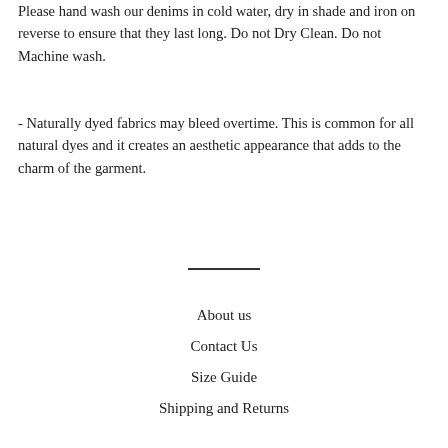Please hand wash our denims in cold water, dry in shade and iron on reverse to ensure that they last long. Do not Dry Clean. Do not Machine wash.
- Naturally dyed fabrics may bleed overtime. This is common for all natural dyes and it creates an aesthetic appearance that adds to the charm of the garment.
About us
Contact Us
Size Guide
Shipping and Returns